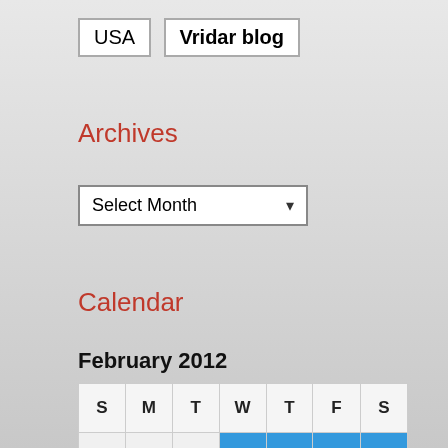USA
Vridar blog
Archives
Select Month
Calendar
February 2012
| S | M | T | W | T | F | S |
| --- | --- | --- | --- | --- | --- | --- |
|  |  |  | 1 | 2 | 3 | 4 |
| 5 | 6 | 7 | 8 | 9 | 10 | 11 |